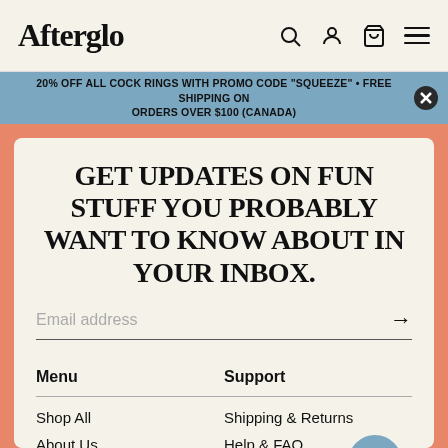Afterglo
20% OFF ALL COCK RINGS WITH PROMO CODE "SQUEEZE" • FREE SHIPPING ON ORDERS OVER $100 (CANADA)
GET UPDATES ON FUN STUFF YOU PROBABLY WANT TO KNOW ABOUT IN YOUR INBOX.
Email address
Menu
Support
Shop All
Shipping & Returns
About Us
Help & FAQ
Community
Terms & Conditions
Privacy Policy